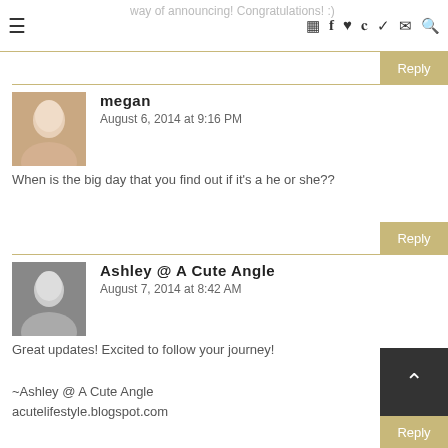way of announcing! Congratulations! :)
megan
August 6, 2014 at 9:16 PM
When is the big day that you find out if it's a he or she??
Ashley @ A Cute Angle
August 7, 2014 at 8:42 AM
Great updates! Excited to follow your journey!

~Ashley @ A Cute Angle
acutelifestyle.blogspot.com